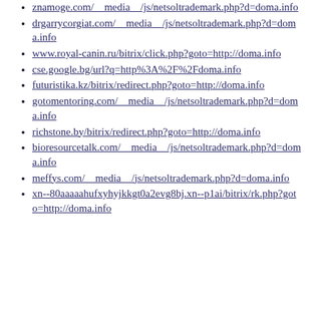znamoge.com/__media__/js/netsoltrademark.php?d=doma.info
drgarrycorgiat.com/__media__/js/netsoltrademark.php?d=doma.info
www.royal-canin.ru/bitrix/click.php?goto=http://doma.info
cse.google.bg/url?q=http%3A%2F%2Fdoma.info
futuristika.kz/bitrix/redirect.php?goto=http://doma.info
gotomentoring.com/__media__/js/netsoltrademark.php?d=doma.info
richstone.by/bitrix/redirect.php?goto=http://doma.info
bioresourcetalk.com/__media__/js/netsoltrademark.php?d=doma.info
meffys.com/__media__/js/netsoltrademark.php?d=doma.info
xn--80aaaaahufxyhyjkkgt0a2evg8bj.xn--p1ai/bitrix/rk.php?goto=http://doma.info